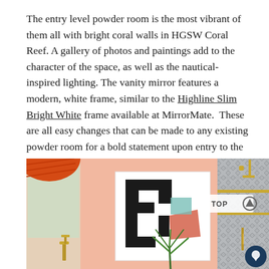The entry level powder room is the most vibrant of them all with bright coral walls in HGSW Coral Reef. A gallery of photos and paintings add to the character of the space, as well as the nautical-inspired lighting. The vanity mirror features a modern, white frame, similar to the Highline Slim Bright White frame available at MirrorMate.  These are all easy changes that can be made to any existing powder room for a bold statement upon entry to the home.
[Figure (photo): Interior photo showing a bathroom/powder room with coral/pink walls, an abstract black and white painting, a gold faucet, orange roman shade, and green plant. Right side shows a tiled shower area. Bottom right has a TOP button and chat icon.]